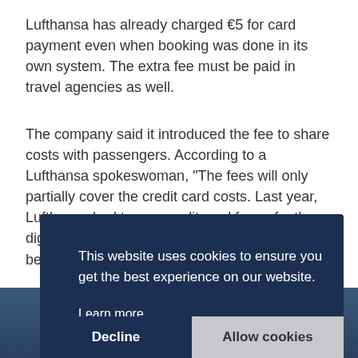Lufthansa has already charged €5 for card payment even when booking was done in its own system. The extra fee must be paid in travel agencies as well.
The company said it introduced the fee to share costs with passengers. According to a Lufthansa spokeswoman, "The fees will only partially cover the credit card costs. Last year, Lufthansa had to pay credit card fees of a three-digit-million euro amount. Therefore costs will be shared between the airline and the traveler."
[Figure (screenshot): Cookie consent banner overlay on a dark navy background, with text 'This website uses cookies to ensure you get the best experience on our website.' and a 'Learn more' link, plus 'Decline' and 'Allow cookies' buttons.]